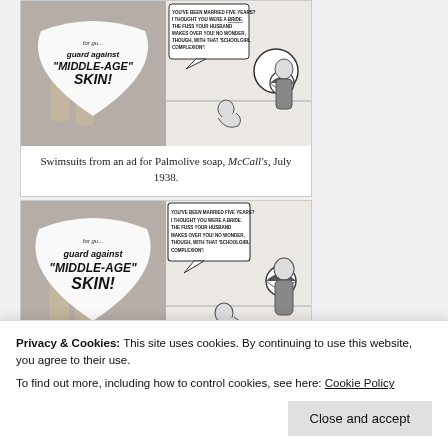[Figure (illustration): Vintage advertisement illustration for Palmolive soap showing two panels: left panel with text 'guard against MIDDLE-AGE SKIN!' and right panel with comic-style drawing of women at beach with speech bubble 'YOU'VE BEEN MARRIED FIVE YEARS? I THOUGHT YOU WERE A BRIDE. THE FUSS YOUR HUSBAND MAKES OVER YOU! NO WONDER, THOUGH, WITH THAT SCHOOLGIRL COMPLEXION!']
Swimsuits from an ad for Palmolive soap, McCall's, July 1938.
[Figure (illustration): Second/larger version of the same vintage Palmolive soap advertisement showing 'for gu... guard against MIDDLE-AGE SKIN!' on the left and the same beach scene comic panel on the right.]
Privacy & Cookies: This site uses cookies. By continuing to use this website, you agree to their use. To find out more, including how to control cookies, see here: Cookie Policy
Close and accept